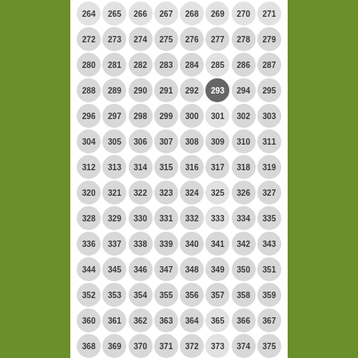[Figure (other): Grid of numbered circles from 264 to 383, with circle 293 highlighted in dark gray. Background is olive/green on sides, white in center.]